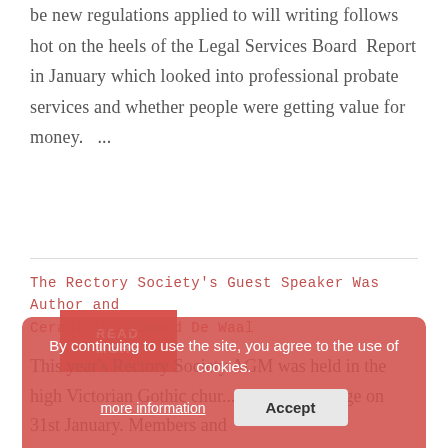be new regulations applied to will writing follows hot on the heels of the Legal Services Board  Report in January which looked into professional probate services and whether people were getting value for money.  ...
READ MORE
The Rectory Society's Guest Speaker Was Author and Ceramicist Edmund De Waal
This year's Rectory Society AGM was held in the high Victorian Gothic chun... in Knightsbridge on 31st January. Members and guests were treated to a...